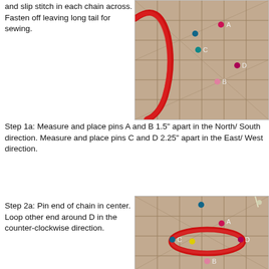and slip stitch in each chain across. Fasten off leaving long tail for sewing.
[Figure (photo): Photo of a red crocheted chain looped on a gridded cutting mat with pins labeled A, B, C, D.]
Step 1a: Measure and place pins A and B 1.5" apart in the North/ South direction. Measure and place pins C and D 2.25" apart in the East/ West direction.
Step 2a: Pin end of chain in center. Loop other end around D in the counter-clockwise direction.
[Figure (photo): Photo of a red crocheted chain looped around pin D on a gridded cutting mat, with pins labeled A, B, C, D.]